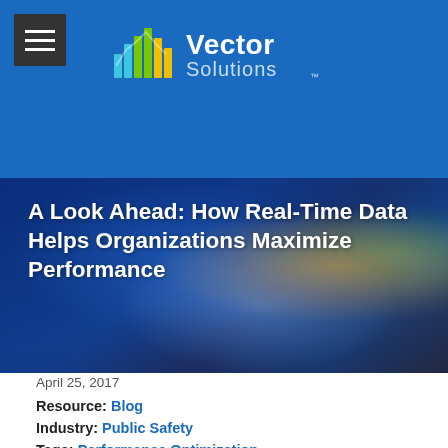[Figure (logo): Vector Solutions logo with stylized bar chart icon in blue/green/yellow]
[Figure (photo): Person holding a smartphone, dark blue bokeh background with orange and green lights]
A Look Ahead: How Real-Time Data Helps Organizations Maximize Performance
April 25, 2017
Resource: Blog
Industry: Public Safety
Tags: Performance Optimization